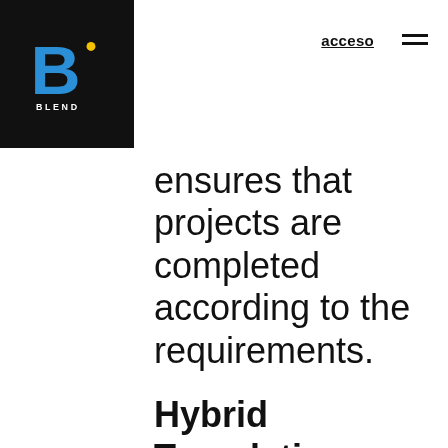[Figure (logo): BLEND company logo — large blue letter B with yellow dot on black background, with text BLEND below]
acceso  ☰
ensures that projects are completed according to the requirements.
Hybrid Translation
An all-inclusive, multi-step process based on Neural Machine Translation (NMT) with human post-editing. BLEND integrates the leading NMT engines available on the